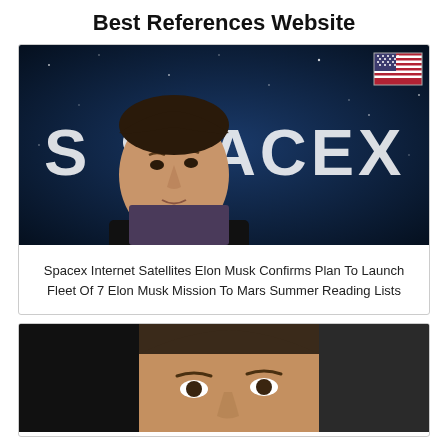Best References Website
[Figure (photo): Elon Musk standing in front of SpaceX logo with American flag in upper right corner, dark blue starry background]
Spacex Internet Satellites Elon Musk Confirms Plan To Launch Fleet Of 7 Elon Musk Mission To Mars Summer Reading Lists
[Figure (photo): Close-up photo of Elon Musk's face, side angle, dark background]